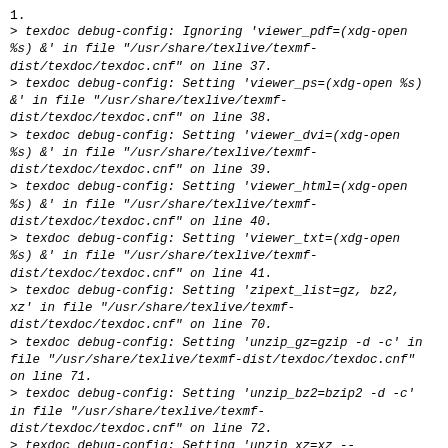1.
> texdoc debug-config: Ignoring 'viewer_pdf=(xdg-open %s) &' in file "/usr/share/texlive/texmf-dist/texdoc/texdoc.cnf" on line 37.
> texdoc debug-config: Setting 'viewer_ps=(xdg-open %s) &' in file "/usr/share/texlive/texmf-dist/texdoc/texdoc.cnf" on line 38.
> texdoc debug-config: Setting 'viewer_dvi=(xdg-open %s) &' in file "/usr/share/texlive/texmf-dist/texdoc/texdoc.cnf" on line 39.
> texdoc debug-config: Setting 'viewer_html=(xdg-open %s) &' in file "/usr/share/texlive/texmf-dist/texdoc/texdoc.cnf" on line 40.
> texdoc debug-config: Setting 'viewer_txt=(xdg-open %s) &' in file "/usr/share/texlive/texmf-dist/texdoc/texdoc.cnf" on line 41.
> texdoc debug-config: Setting 'zipext_list=gz, bz2, xz' in file "/usr/share/texlive/texmf-dist/texdoc/texdoc.cnf" on line 70.
> texdoc debug-config: Setting 'unzip_gz=gzip -d -c' in file "/usr/share/texlive/texmf-dist/texdoc/texdoc.cnf" on line 71.
> texdoc debug-config: Setting 'unzip_bz2=bzip2 -d -c' in file "/usr/share/texlive/texmf-dist/texdoc/texdoc.cnf" on line 72.
> texdoc debug-config: Setting 'unzip_xz=xz --decompress --stdout' in file "/usr/share/texlive/texmf-dist/texdoc/texdoc.cnf" on line 73.
> texdoc debug-config: Setting 'suffix_list=doc, -doc, _doc, .doc, /doc, manual, /manual, -manual, userguide,